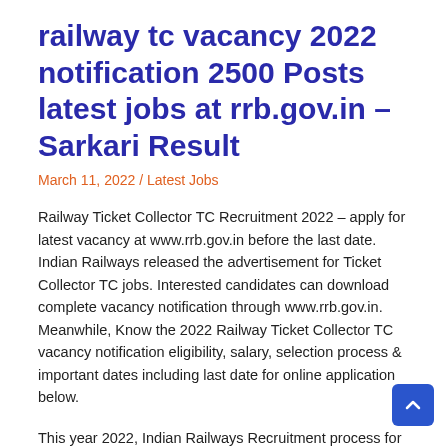railway tc vacancy 2022 notification 2500 Posts latest jobs at rrb.gov.in – Sarkari Result
March 11, 2022 / Latest Jobs
Railway Ticket Collector TC Recruitment 2022 – apply for latest vacancy at www.rrb.gov.in before the last date. Indian Railways released the advertisement for Ticket Collector TC jobs. Interested candidates can download complete vacancy notification through www.rrb.gov.in. Meanwhile, Know the 2022 Railway Ticket Collector TC vacancy notification eligibility, salary, selection process & important dates including last date for online application below.
This year 2022, Indian Railways Recruitment process for Ticket Collector TC vacancies expected to be complete